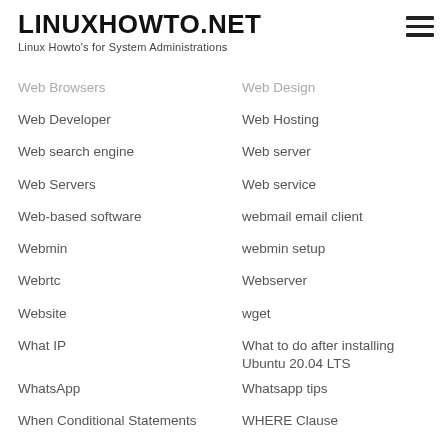LINUXHOWTO.NET — Linux Howto's for System Administrations
Web Browsers
Web Design
Web Developer
Web Hosting
Web search engine
Web server
Web Servers
Web service
Web-based software
webmail email client
Webmin
webmin setup
Webrtc
Webserver
Website
wget
What IP
What to do after installing Ubuntu 20.04 LTS
WhatsApp
Whatsapp tips
When Conditional Statements
WHERE Clause
While Loop
Whiptail